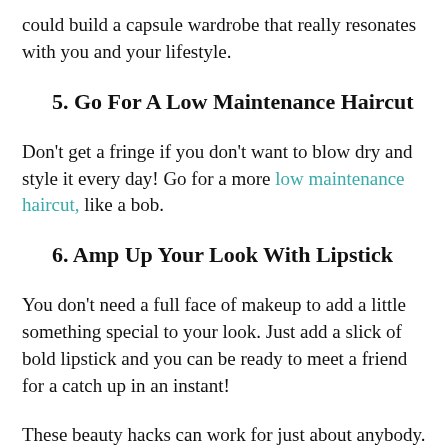could build a capsule wardrobe that really resonates with you and your lifestyle.
5. Go For A Low Maintenance Haircut
Don't get a fringe if you don't want to blow dry and style it every day! Go for a more low maintenance haircut, like a bob.
6. Amp Up Your Look With Lipstick
You don't need a full face of makeup to add a little something special to your look. Just add a slick of bold lipstick and you can be ready to meet a friend for a catch up in an instant!
These beauty hacks can work for just about anybody. Got some of your own to share? Leave a comment below!